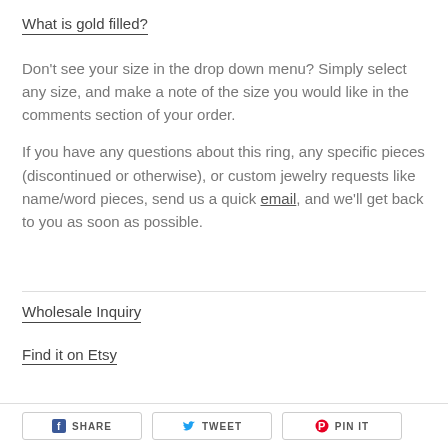What is gold filled?
Don't see your size in the drop down menu? Simply select any size, and make a note of the size you would like in the comments section of your order.
If you have any questions about this ring, any specific pieces (discontinued or otherwise), or custom jewelry requests like name/word pieces, send us a quick email, and we'll get back to you as soon as possible.
Wholesale Inquiry
Find it on Etsy
SHARE
TWEET
PIN IT